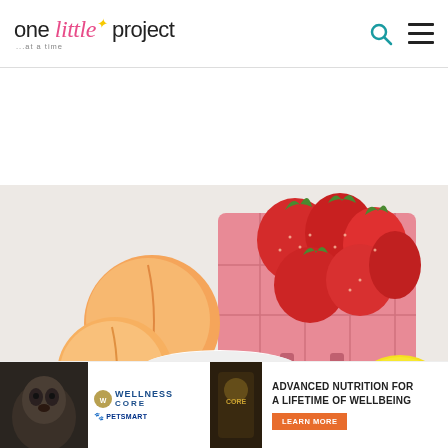one little project ...at a time
[Figure (photo): Fresh strawberries in a pink ceramic berry basket, two peaches, a small white bowl, and a lemon arranged on a white background — ingredients for a fruit recipe.]
[Figure (photo): Advertisement banner: Wellness CORE PetSmart — Advanced Nutrition for a Lifetime of Wellbeing, with a Learn More button and a dog photo on the left and a pet food bag in the center.]